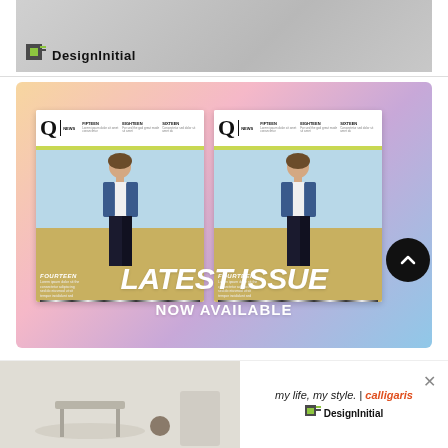[Figure (photo): DesignInitial banner advertisement showing modern furniture and logo]
[Figure (photo): Q News magazine latest issue advertisement showing two magazine covers with a young man in a denim jacket, gradient pink/blue/orange background, text says LATEST ISSUE]
[Figure (photo): Bottom banner ad: my life, my style. | calligaris with DesignInitial logo]